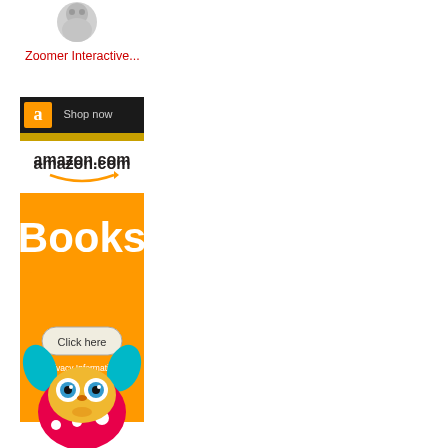[Figure (photo): Small product image of a toy robot (gray/white figure) in the top left sidebar]
Zoomer Interactive...
[Figure (screenshot): Amazon Books advertisement banner with orange background, amazon.com logo, 'Books' text, 'Click here' button, 'Privacy Information' text, and Amazon logo at the bottom]
[Figure (photo): Furby toy with pink polka dot body, teal ears, yellow beak, and large blue eyes at the bottom of the sidebar]